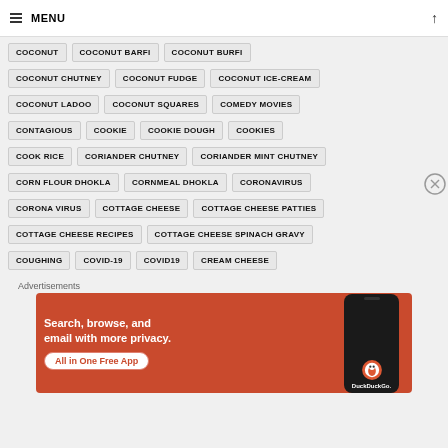MENU
COCONUT
COCONUT BARFI
COCONUT BURFI
COCONUT CHUTNEY
COCONUT FUDGE
COCONUT ICE-CREAM
COCONUT LADOO
COCONUT SQUARES
COMEDY MOVIES
CONTAGIOUS
COOKIE
COOKIE DOUGH
COOKIES
COOK RICE
CORIANDER CHUTNEY
CORIANDER MINT CHUTNEY
CORN FLOUR DHOKLA
CORNMEAL DHOKLA
CORONAVIRUS
CORONA VIRUS
COTTAGE CHEESE
COTTAGE CHEESE PATTIES
COTTAGE CHEESE RECIPES
COTTAGE CHEESE SPINACH GRAVY
COUGHING
COVID-19
COVID19
CREAM CHEESE
Advertisements
[Figure (screenshot): DuckDuckGo advertisement banner: orange background with text 'Search, browse, and email with more privacy. All in One Free App' and DuckDuckGo logo with phone image]